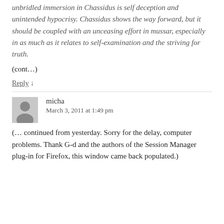unbridled immersion in Chassidus is self deception and unintended hypocrisy. Chassidus shows the way forward, but it should be coupled with an unceasing effort in mussar, especially in as much as it relates to self-examination and the striving for truth.
(cont...)
Reply ↓
micha
March 3, 2011 at 1:49 pm
(... continued from yesterday. Sorry for the delay, computer problems. Thank G-d and the authors of the Session Manager plug-in for Firefox, this window came back populated.)